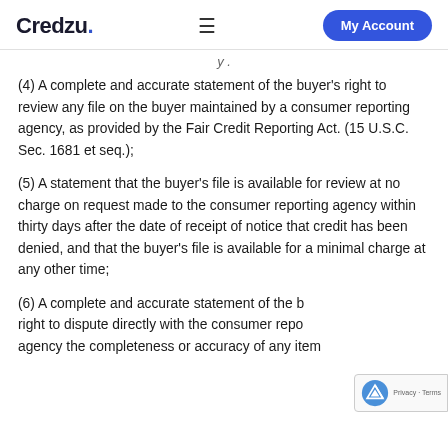Credzu. ≡ My Account
(4) A complete and accurate statement of the buyer's right to review any file on the buyer maintained by a consumer reporting agency, as provided by the Fair Credit Reporting Act. (15 U.S.C. Sec. 1681 et seq.);
(5) A statement that the buyer's file is available for review at no charge on request made to the consumer reporting agency within thirty days after the date of receipt of notice that credit has been denied, and that the buyer's file is available for a minimal charge at any other time;
(6) A complete and accurate statement of the buyer's right to dispute directly with the consumer reporting agency the completeness or accuracy of any item